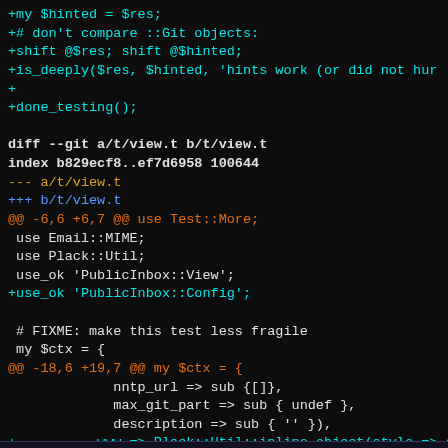[Figure (screenshot): A terminal/code editor showing a unified diff output of git changes. Dark background with syntax-highlighted diff content in cyan, white, yellow, orange, and blue colors. Shows changes to Perl test files t/view.t and another file.]